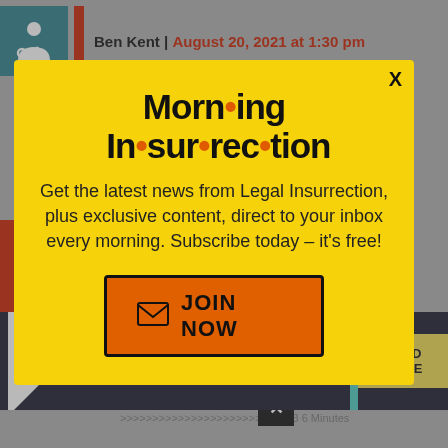Ben Kent | August 20, 2021 at 1:30 pm
Full half hour. >>> 30 Minutes.
Karl Rove on FOX just said “this is an
[Figure (screenshot): Morning Insurrection modal popup on yellow background with title text, subscription message, and JOIN NOW button]
[Figure (screenshot): The Perspective advertisement bar at bottom: SEE WHAT YOU'RE MISSING with READ MORE button]